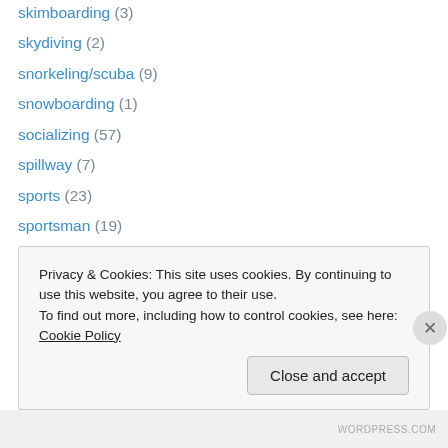skimboarding (3)
skydiving (2)
snorkeling/scuba (9)
snowboarding (1)
socializing (57)
spillway (7)
sports (23)
sportsman (19)
spring (10)
streetcarnage.com (17)
success (18)
summer (20)
surfing (10)
swamp (12)
Privacy & Cookies: This site uses cookies. By continuing to use this website, you agree to their use. To find out more, including how to control cookies, see here: Cookie Policy
Close and accept